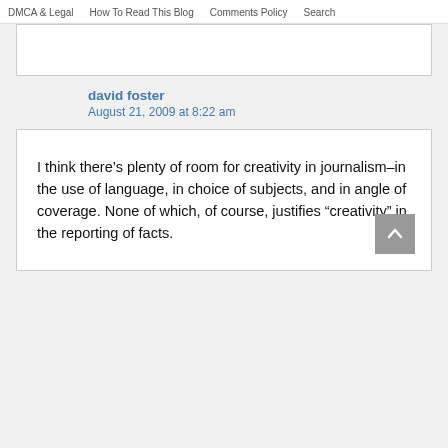DMCA & Legal   How To Read This Blog   Comments Policy   Search
david foster
August 21, 2009 at 8:22 am
I think there’s plenty of room for creativity in journalism–in the use of language, in choice of subjects, and in angle of coverage. None of which, of course, justifies “creativity” in the reporting of facts.